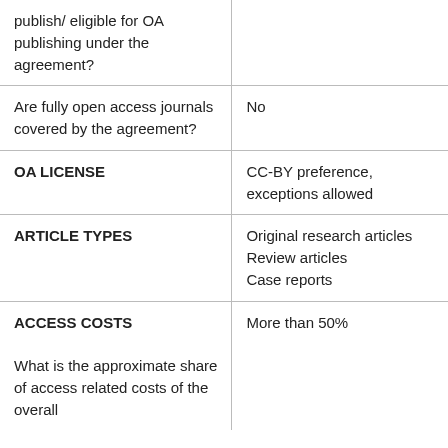| publish/ eligible for OA publishing under the agreement? |  |
| Are fully open access journals covered by the agreement? | No |
| OA LICENSE | CC-BY preference, exceptions allowed |
| ARTICLE TYPES | Original research articles
Review articles
Case reports |
| ACCESS COSTS
What is the approximate share of access related costs of the overall | More than 50% |